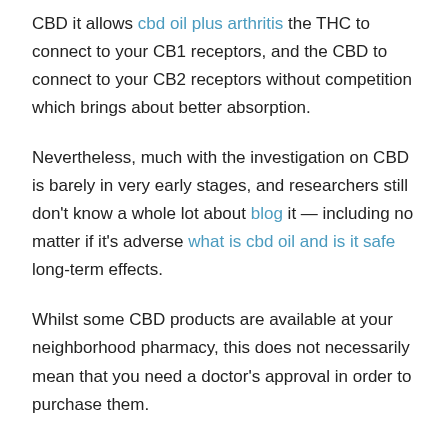CBD it allows cbd oil plus arthritis the THC to connect to your CB1 receptors, and the CBD to connect to your CB2 receptors without competition which brings about better absorption.
Nevertheless, much with the investigation on CBD is barely in very early stages, and researchers still don't know a whole lot about blog it — including no matter if it's adverse what is cbd oil and is it safe long-term effects.
Whilst some CBD products are available at your neighborhood pharmacy, this does not necessarily mean that you need a doctor's approval in order to purchase them.
As being the 2020 elections are coming nearer, more candidates than ever are pulling out the federal legalization